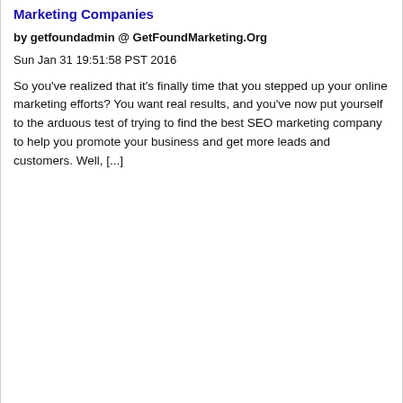Marketing Companies
by getfoundadmin @ GetFoundMarketing.Org
Sun Jan 31 19:51:58 PST 2016
So you've realized that it's finally time that you stepped up your online marketing efforts? You want real results, and you've now put yourself to the arduous test of trying to find the best SEO marketing company to help you promote your business and get more leads and customers. Well, [...]